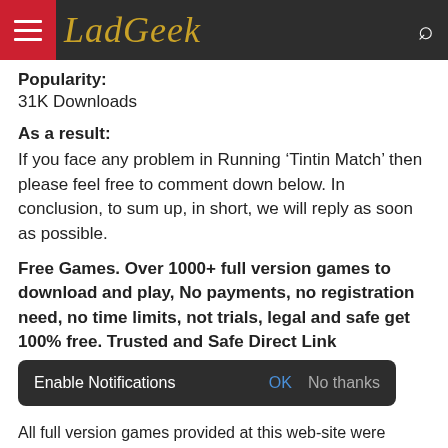LadGeek
Popularity:
31K Downloads
As a result:
If you face any problem in Running ‘Tintin Match’ then please feel free to comment down below. In conclusion, to sum up, in short, we will reply as soon as possible.
Free Games. Over 1000+ full version games to download and play, No payments, no registration need, no time limits, not trials, legal and safe get 100% free. Trusted and Safe Direct Link
Enable Notifications  OK  No thanks
All full version games provided at this web-site were